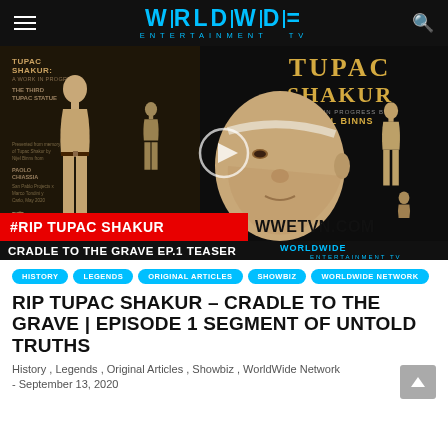WORLDWIDE ENTERTAINMENT TV
[Figure (screenshot): Video thumbnail composite showing Tupac Shakur statue artwork by Nijel Binns, with #RIP TUPAC SHAKUR red bar, WWETVN.COM text, and CRADLE TO THE GRAVE EP.1 TEASER label]
HISTORY
LEGENDS
ORIGINAL ARTICLES
SHOWBIZ
WORLDWIDE NETWORK
RIP TUPAC SHAKUR – CRADLE TO THE GRAVE | EPISODE 1 SEGMENT OF UNTOLD TRUTHS
History , Legends , Original Articles , Showbiz , WorldWide Network - September 13, 2020